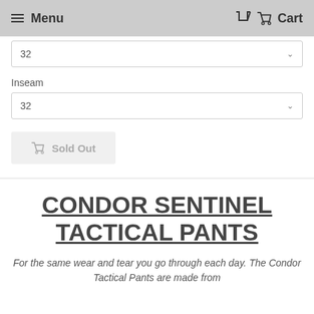Menu   Cart
32
Inseam
32
[ Sold Out
CONDOR SENTINEL TACTICAL PANTS
For the same wear and tear you go through each day. The Condor Tactical Pants are made from